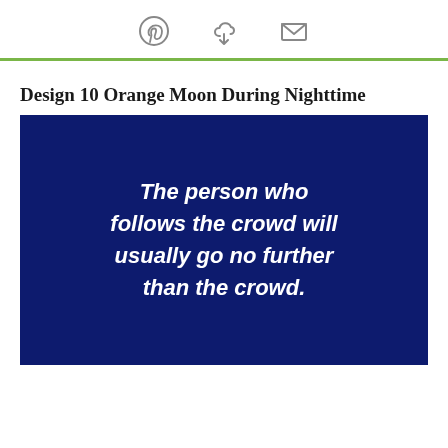[Pinterest icon] [Download icon] [Email icon]
Design 10 Orange Moon During Nighttime
[Figure (illustration): Dark navy blue background with bold white italic text reading: The person who follows the crowd will usually go no further than the crowd.]